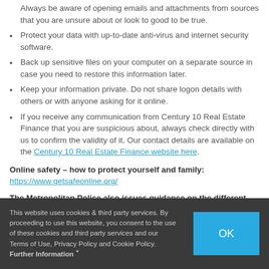Always be aware of opening emails and attachments from sources that you are unsure about or look to good to be true.
Protect your data with up-to-date anti-virus and internet security software.
Back up sensitive files on your computer on a separate source in case you need to restore this information later.
Keep your information private. Do not share logon details with others or with anyone asking for it online.
If you receive any communication from Century 10 Real Estate Finance that you are suspicious about, always check directly with us to confirm the validity of it. Our contact details are available on the Century 10 Real Estate Finance website here.
Online safety – how to protect yourself and family: https://www.getsafeonline.org/
The Metropolitan Police also issues guidance on the different types of scams that can occur. A PDF version
This website uses cookies & third party services. By proceeding to use this website, you consent to the use of these cookies and third party services and our Terms of Use, Privacy Policy and Cookie Policy. Further Information